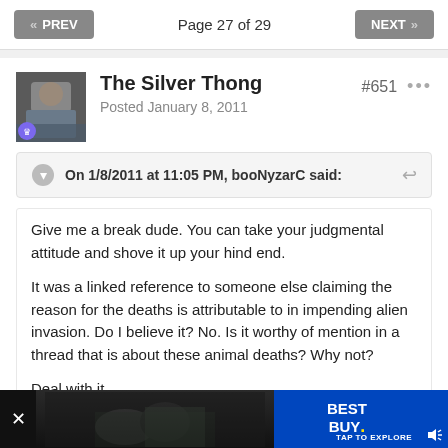PREV  |  Page 27 of 29  |  NEXT
The Silver Thong
Posted January 8, 2011
#651
On 1/8/2011 at 11:05 PM, booNyzarC said:
Give me a break dude. You can take your judgmental attitude and shove it up your hind end.

It was a linked reference to someone else claiming the reason for the deaths is attributable to in impending alien invasion. Do I believe it? No. Is it worthy of mention in a thread that is about these animal deaths? Why not?

Deal with it.